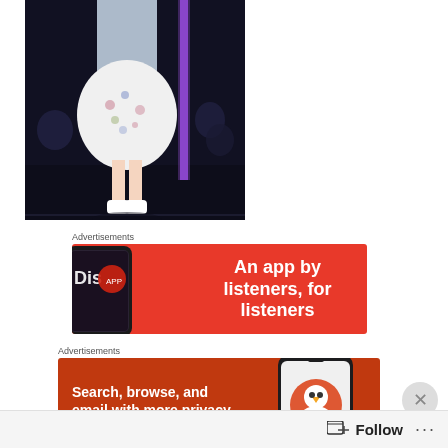[Figure (photo): Fashion runway photo showing a model from the waist down wearing a white floral dress and white sneakers on a dark stage with purple neon lighting. Audience visible in background.]
Advertisements
[Figure (screenshot): Red advertisement banner for a podcast/audio app with text 'An app by listeners, for listeners' and a phone mockup showing the app interface.]
Advertisements
[Figure (screenshot): Orange-red DuckDuckGo advertisement banner with text 'Search, browse, and email with more privacy.' and 'All in One Free App' button, with phone mockup showing DuckDuckGo logo.]